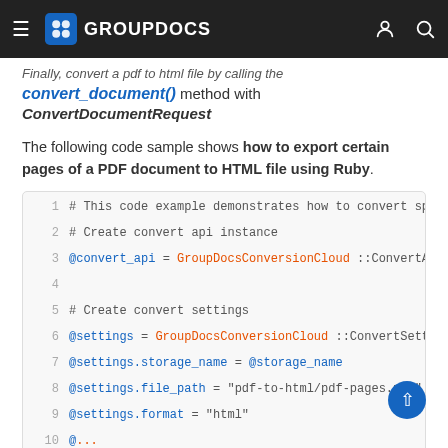GROUPDOCS
Finally, convert a pdf to html file by calling the convert_document() method with ConvertDocumentRequest
The following code sample shows how to export certain pages of a PDF document to HTML file using Ruby.
[Figure (screenshot): Code block showing Ruby code example for converting PDF pages to HTML using GroupDocs Conversion Cloud API. Lines 1-9 visible: comments, @convert_api, @settings initialization with GroupDocsConversionCloud classes, @settings.storage_name, @settings.file_path, @settings.format assignments.]